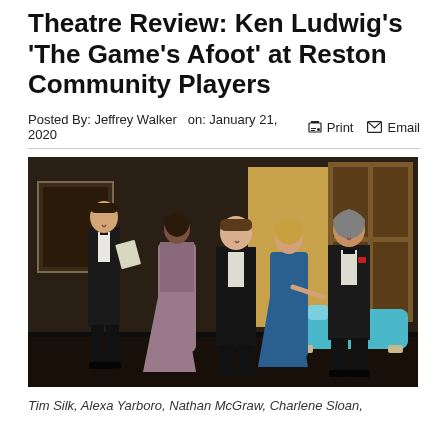Theatre Review: Ken Ludwig's 'The Game's Afoot' at Reston Community Players
Posted By: Jeffrey Walker   on: January 21, 2020
[Figure (photo): Stage performance photo showing five actors in formal evening wear (tuxedos and gowns) on a theatre set. From left: tall man in tuxedo holding papers, woman in mauve/purple gown, young man in tuxedo, woman in blue dress, older man in tuxedo. A teal/turquoise chaise lounge is visible at right. The set features dark wooden paneling and a golden yellow wall section.]
Tim Silk, Alexa Yarboro, Nathan McGraw, Charlene Sloan,